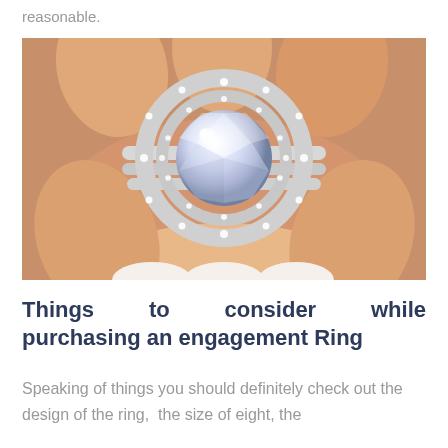reasonable.
[Figure (photo): Close-up photo of two hands holding a diamond engagement ring with a large round brilliant center stone surrounded by a double halo of smaller diamonds, set in white gold with pavé-set diamond bands.]
Things to consider while purchasing an engagement Ring
Speaking of things you should definitely check out the design of the ring, the size of eight, the